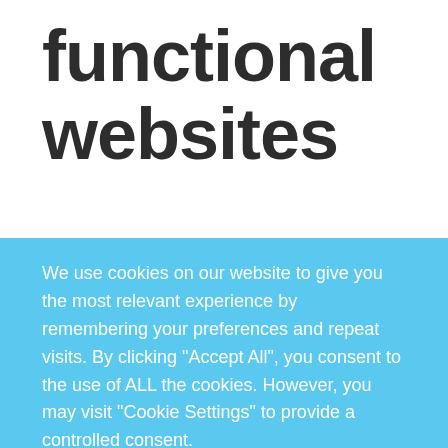functional websites
A wonderful serenity has taken possession of my entire soul, like these sweet mornings of spring which I enjoy with my whole heart. I am alone, and feel the charm of existence in this spot, which was
We use cookies on our website to give you the most relevant experience by remembering your preferences and repeat visits. By clicking “Accept All”, you consent to the use of ALL the cookies. However, you may visit “Cookie Settings” to provide a controlled consent.
Cookie Settings   Accept All